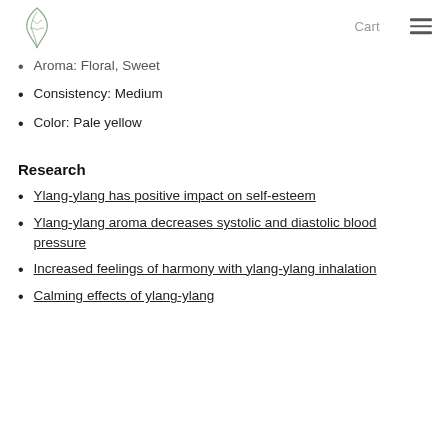Cart
Aroma: Floral, Sweet
Consistency: Medium
Color: Pale yellow
Research
Ylang-ylang has positive impact on self-esteem
Ylang-ylang aroma decreases systolic and diastolic blood pressure
Increased feelings of harmony with ylang-ylang inhalation
Calming effects of ylang-ylang